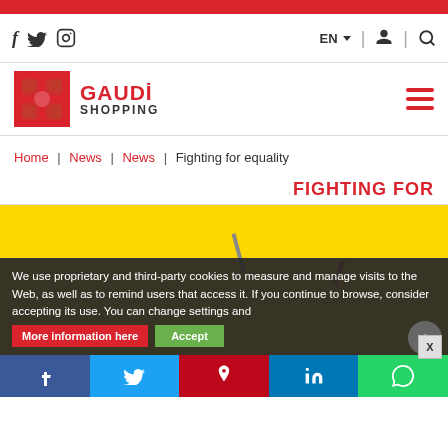[Figure (logo): Gaudi Shopping logo with red geometric icon and text]
Home | News | News | Fighting for equality
FIGHTING FOR EQUALITY
[Figure (photo): Yellow background photo with pencil/confetti elements (partially visible due to cookie banner overlay)]
We use proprietary and third-party cookies to measure and manage visits to the Web, as well as to remind users that access it. If you continue to browse, consider accepting its use. You can change settings and
More information here   Accept